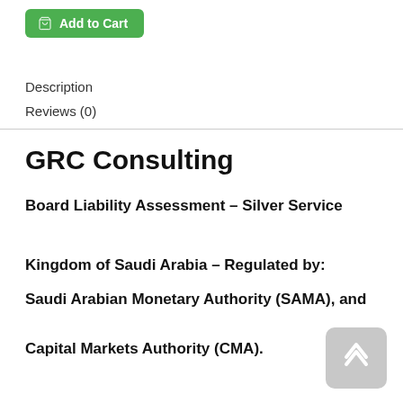[Figure (other): Green 'Add to Cart' button with shopping cart icon]
Description
Reviews (0)
GRC Consulting
Board Liability Assessment – Silver Service
Kingdom of Saudi Arabia – Regulated by:
Saudi Arabian Monetary Authority (SAMA), and
Capital Markets Authority (CMA).